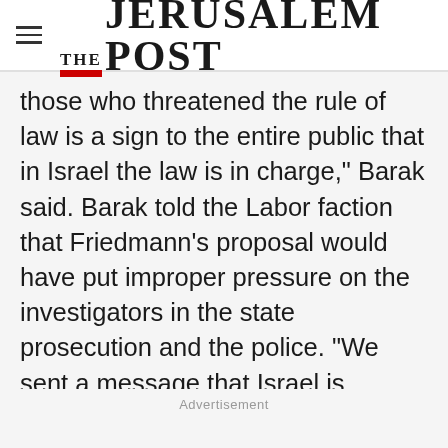THE JERUSALEM POST
those who threatened the rule of law is a sign to the entire public that in Israel the law is in charge," Barak said. Barak told the Labor faction that Friedmann's proposal would have put improper pressure on the investigators in the state prosecution and the police. "We sent a message that Israel is governed by the rule of law and by common sense," Barak said. "Whenever there are politicians in Israel [like Ramon] who
Advertisement